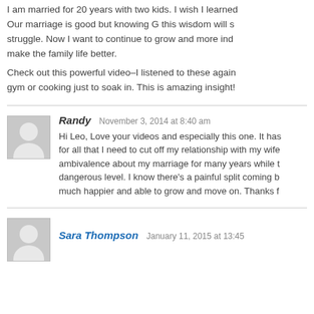I am married for 20 years with two kids. I wish I learned Our marriage is good but knowing G this wisdom will s struggle. Now I want to continue to grow and more ind make the family life better.
Check out this powerful video–I listened to these again gym or cooking just to soak in. This is amazing insight!
Randy  November 3, 2014 at 8:40 am
Hi Leo, Love your videos and especially this one. It has for all that I need to cut off my relationship with my wife ambivalence about my marriage for many years while t dangerous level. I know there's a painful split coming b much happier and able to grow and move on. Thanks f
Sara Thompson  January 11, 2015 at 13:45